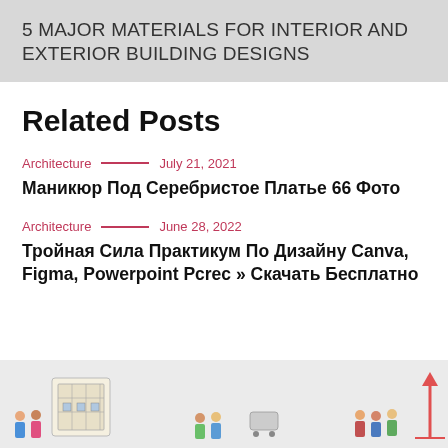5 MAJOR MATERIALS FOR INTERIOR AND EXTERIOR BUILDING DESIGNS
Related Posts
Architecture — July 21, 2021
Маникюр Под Серебристое Платье 66 Фото
Architecture — June 28, 2022
Тройная Сила Практикум По Дизайну Canva, Figma, Powerpoint Pcrec » Скачать Бесплатно
[Figure (illustration): Illustrated banner showing groups of people and an architectural blueprint, with an upward arrow on the right side, on a light gray background]